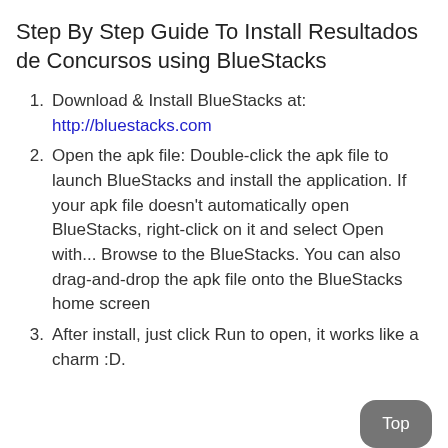Step By Step Guide To Install Resultados de Concursos using BlueStacks
Download & Install BlueStacks at: http://bluestacks.com
Open the apk file: Double-click the apk file to launch BlueStacks and install the application. If your apk file doesn't automatically open BlueStacks, right-click on it and select Open with... Browse to the BlueStacks. You can also drag-and-drop the apk file onto the BlueStacks home screen
After install, just click Run to open, it works like a charm :D.